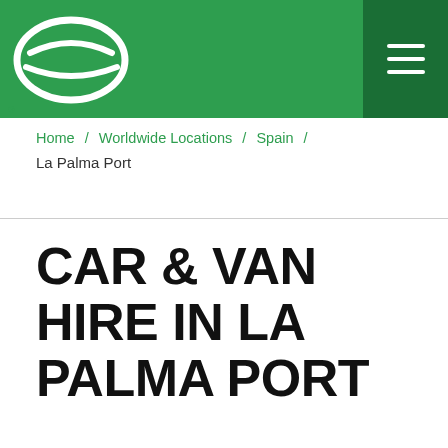[Figure (logo): Enterprise car rental logo — white circular swoosh/ellipse icon on green background, top-left of header]
Home / Worldwide Locations / Spain / La Palma Port
CAR & VAN HIRE IN LA PALMA PORT